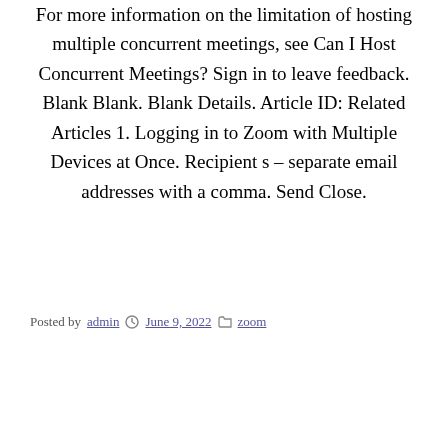For more information on the limitation of hosting multiple concurrent meetings, see Can I Host Concurrent Meetings? Sign in to leave feedback. Blank Blank. Blank Details. Article ID: Related Articles 1. Logging in to Zoom with Multiple Devices at Once. Recipient s – separate email addresses with a comma. Send Close.
Posted by admin  June 9, 2022  zoom